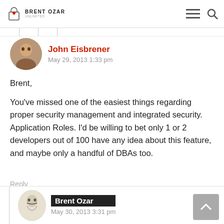Brent Ozar Unlimited
John Eisbrener
May 29, 2013 1:33 pm
Brent,

You've missed one of the easiest things regarding proper security management and integrated security. Application Roles. I'd be willing to bet only 1 or 2 developers out of 100 have any idea about this feature, and maybe only a handful of DBAs too.
Reply
Brent Ozar
May 30, 2013 3:31 pm